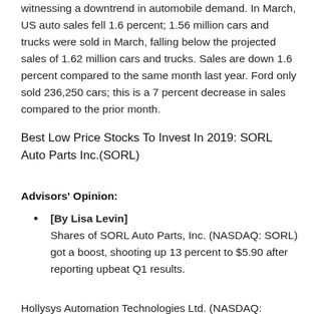witnessing a downtrend in automobile demand. In March, US auto sales fell 1.6 percent; 1.56 million cars and trucks were sold in March, falling below the projected sales of 1.62 million cars and trucks. Sales are down 1.6 percent compared to the same month last year. Ford only sold 236,250 cars; this is a 7 percent decrease in sales compared to the prior month.
Best Low Price Stocks To Invest In 2019: SORL Auto Parts Inc.(SORL)
Advisors' Opinion:
[By Lisa Levin] Shares of SORL Auto Parts, Inc. (NASDAQ: SORL) got a boost, shooting up 13 percent to $5.90 after reporting upbeat Q1 results.
Hollysys Automation Technologies Ltd. (NASDAQ: